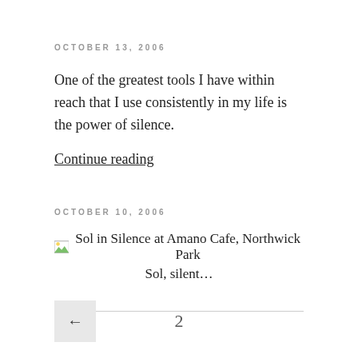OCTOBER 13, 2006
One of the greatest tools I have within reach that I use consistently in my life is the power of silence.
Continue reading
OCTOBER 10, 2006
[Figure (photo): Image placeholder icon followed by text: Sol in Silence at Amano Cafe, Northwick Park]
Sol, silent...
← 2